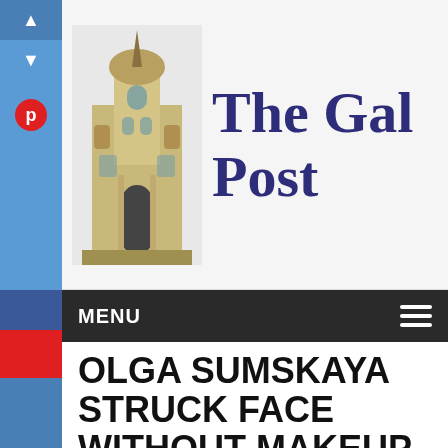[Figure (illustration): The Gal Post website header with a baroque church/building illustration on the left and the site title 'The Gal Post' in large dark navy serif font on the right]
MENU
OLGA SUMSKAYA STRUCK FACE WITHOUT MAKEUP
Katrine Johns | September 16, 2019 | Entertainment | 0 Comments
A new publication by Olga Sumy in social media caused a heated discussion among fans. Favorite Ukrainian viewers showed their real face. 53-year-old actress demonstrated how her skin looks